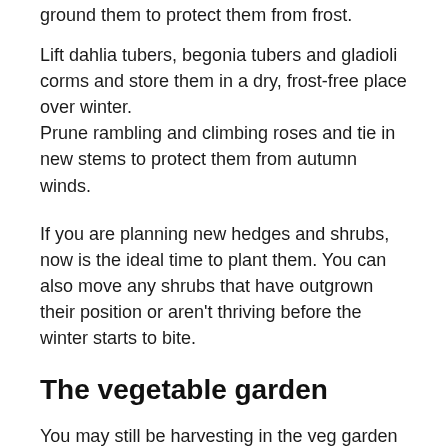ground them to protect them from frost.
Lift dahlia tubers, begonia tubers and gladioli corms and store them in a dry, frost-free place over winter.
Prune rambling and climbing roses and tie in new stems to protect them from autumn winds.
If you are planning new hedges and shrubs, now is the ideal time to plant them. You can also move any shrubs that have outgrown their position or aren't thriving before the winter starts to bite.
The vegetable garden
You may still be harvesting in the veg garden now. Remember to leave some bean pods so you can harvest the seeds for next year. If you